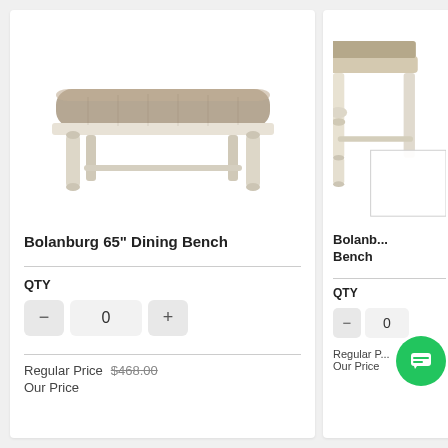[Figure (photo): Bolanburg 65-inch dining bench with upholstered seat in taupe/gray fabric and antique white wooden frame with turned legs]
Bolanburg 65" Dining Bench
QTY
Regular Price $468.00
Our Price
[Figure (photo): Partial view of a Bolanburg counter height bench/stool with antique white frame, cropped at right side of page]
Bolanb... Bench
QTY
Regular P...
Our Price